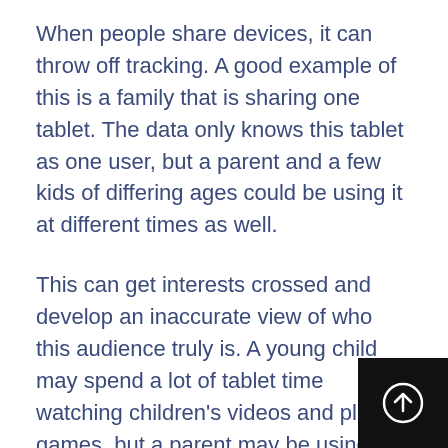When people share devices, it can throw off tracking. A good example of this is a family that is sharing one tablet. The data only knows this tablet as one user, but a parent and a few kids of differing ages could be using it at different times as well.
This can get interests crossed and develop an inaccurate view of who this audience truly is. A young child may spend a lot of tablet time watching children's videos and playing games, but a parent may be using it for work and research, thus creating a view of a tablet user that confuses most established algorithms.
A business can avoid this issue by not relying e…